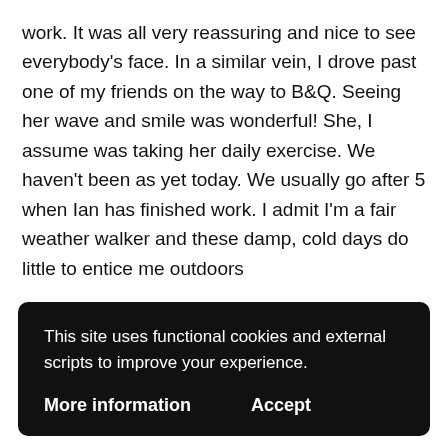work. It was all very reassuring and nice to see everybody's face. In a similar vein, I drove past one of my friends on the way to B&Q. Seeing her wave and smile was wonderful! She, I assume was taking her daily exercise. We haven't been as yet today. We usually go after 5 when Ian has finished work. I admit I'm a fair weather walker and these damp, cold days do little to entice me outdoors
Have a lovely evening and stay safe x
This site uses functional cookies and external scripts to improve your experience.
More information
Accept